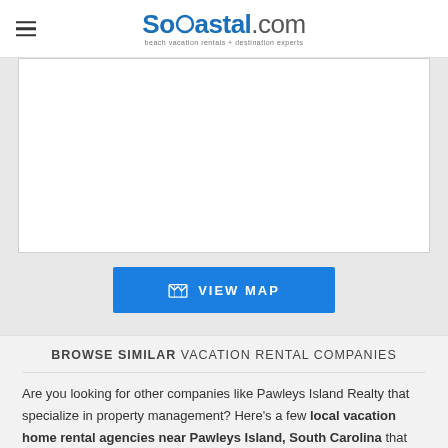SoCoastal.com — beach vacation rentals + destination experts
[Figure (other): White rectangular map placeholder area]
VIEW MAP
BROWSE SIMILAR VACATION RENTAL COMPANIES
Are you looking for other companies like Pawleys Island Realty that specialize in property management? Here's a few local vacation home rental agencies near Pawleys Island, South Carolina that